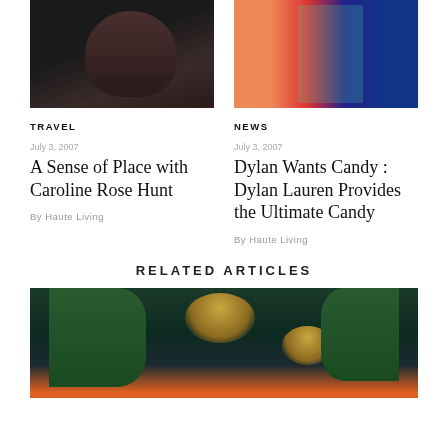[Figure (photo): Woman in dark clothing, portrait photo]
[Figure (photo): Woman in teal/turquoise outfit against colorful striped background]
TRAVEL
NEWS
July 3, 2007
A Sense of Place with Caroline Rose Hunt
By Haute Living
July 3, 2007
Dylan Wants Candy : Dylan Lauren Provides the Ultimate Candy
By Haute Living
RELATED ARTICLES
[Figure (photo): Elegant restaurant or bar interior with chandeliers, palm plants, and sunset view through windows]